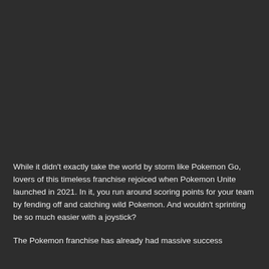While it didn't exactly take the world by storm like Pokemon Go, lovers of this timeless franchise rejoiced when Pokemon Unite launched in 2021. In it, you run around scoring points for your team by fending off and catching wild Pokemon. And wouldn't sprinting be so much easier with a joystick?
The Pokemon franchise has already had massive success